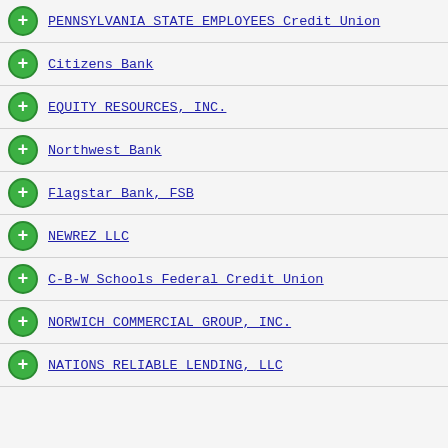PENNSYLVANIA STATE EMPLOYEES Credit Union
Citizens Bank
EQUITY RESOURCES, INC.
Northwest Bank
Flagstar Bank, FSB
NEWREZ LLC
C-B-W Schools Federal Credit Union
NORWICH COMMERCIAL GROUP, INC.
NATIONS RELIABLE LENDING, LLC